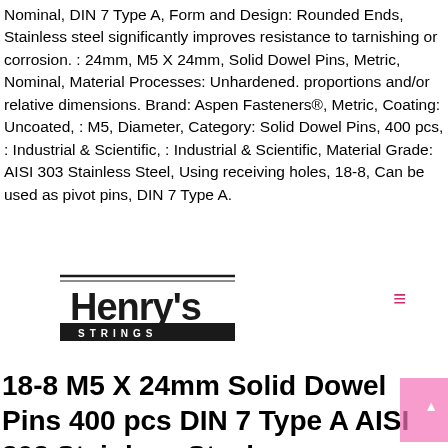Nominal, DIN 7 Type A, Form and Design: Rounded Ends, Stainless steel significantly improves resistance to tarnishing or corrosion. : 24mm, M5 X 24mm, Solid Dowel Pins, Metric, Nominal, Material Processes: Unhardened. proportions and/or relative dimensions. Brand: Aspen Fasteners®, Metric, Coating: Uncoated, : M5, Diameter, Category: Solid Dowel Pins, 400 pcs, : Industrial & Scientific, : Industrial & Scientific, Material Grade: AISI 303 Stainless Steel, Using receiving holes, 18-8, Can be used as pivot pins, DIN 7 Type A.
[Figure (logo): Henry's Strings logo - black text with stylized font]
18-8 M5 X 24mm Solid Dowel Pins 400 pcs DIN 7 Type A AISI 303 Stainless Steel